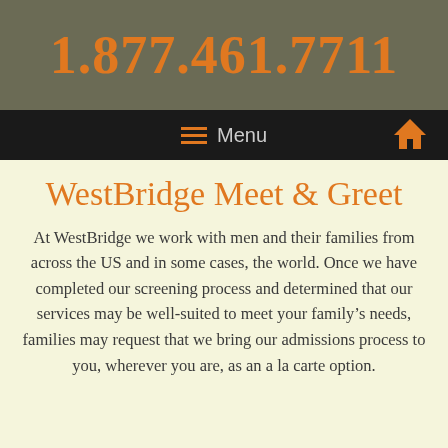1.877.461.7711
Menu
WestBridge Meet & Greet
At WestBridge we work with men and their families from across the US and in some cases, the world. Once we have completed our screening process and determined that our services may be well-suited to meet your family’s needs, families may request that we bring our admissions process to you, wherever you are, as an a la carte option.